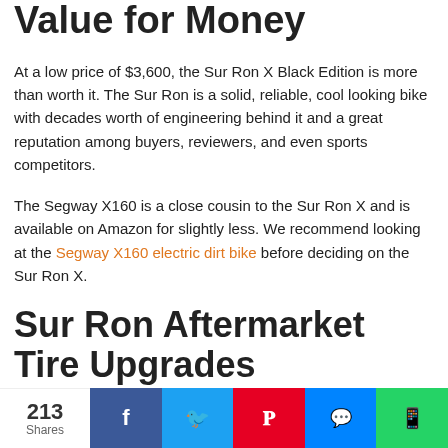Value for Money
At a low price of $3,600, the Sur Ron X Black Edition is more than worth it. The Sur Ron is a solid, reliable, cool looking bike with decades worth of engineering behind it and a great reputation among buyers, reviewers, and even sports competitors.
The Segway X160 is a close cousin to the Sur Ron X and is available on Amazon for slightly less. We recommend looking at the Segway X160 electric dirt bike before deciding on the Sur Ron X.
Sur Ron Aftermarket Tire Upgrades
213 Shares | Facebook | Twitter | Pinterest | Messenger | WhatsApp